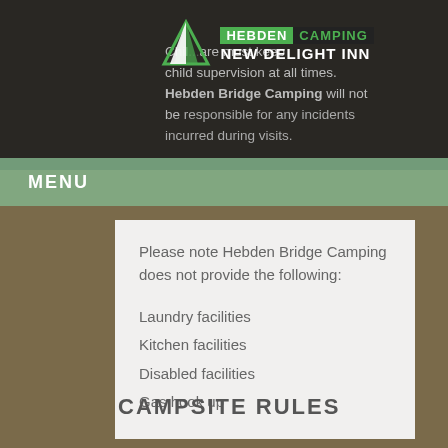[Figure (logo): Hebden Camping New Delight Inn logo with tent icon]
Children must be supervised at all times. Hebden Bridge Camping will not be responsible for any incidents incurred during visits.
MENU
Please note Hebden Bridge Camping does not provide the following:
Laundry facilities
Kitchen facilities
Disabled facilities
Gas hook up
CAMPSITE RULES